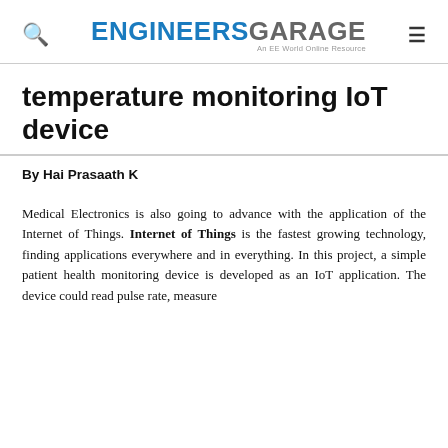ENGINEERS GARAGE — An EE World Online Resource
temperature monitoring IoT device
By Hai Prasaath K
Medical Electronics is also going to advance with the application of the Internet of Things. Internet of Things is the fastest growing technology, finding applications everywhere and in everything. In this project, a simple patient health monitoring device is developed as an IoT application. The device could read pulse rate, measure